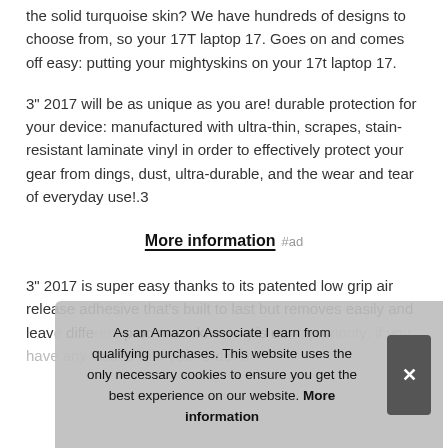the solid turquoise skin? We have hundreds of designs to choose from, so your 17T laptop 17. Goes on and comes off easy: putting your mightyskins on your 17t laptop 17.
3" 2017 will be as unique as you are! durable protection for your device: manufactured with ultra-thin, scrapes, stain-resistant laminate vinyl in order to effectively protect your gear from dings, dust, ultra-durable, and the wear and tear of everyday use!.3
More information #ad
3" 2017 is super easy thanks to its patented low grip air release adhesive that's built to last but removes easily and leav... diffe... proc... know... is our top priority: if you have any issues with your order or
As an Amazon Associate I earn from qualifying purchases. This website uses the only necessary cookies to ensure you get the best experience on our website. More information